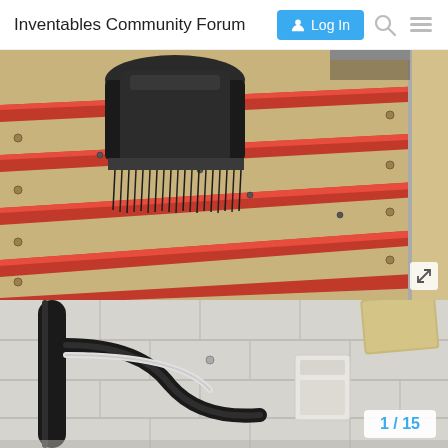Inventables Community Forum
[Figure (photo): Close-up photo of a CNC machine with red aluminum T-track rails on an MDF spoilboard, with a black router spindle and dust shoe brush visible at the top.]
[Figure (photo): Photo of wiring/cables running along a white cinder block wall, with a black cable conduit and a white electrical box mounted on the wall.]
1 / 15